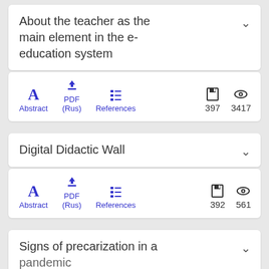About the teacher as the main element in the e-education system
Abstract  PDF (Rus)  References  397  3417
Digital Didactic Wall
Abstract  PDF (Rus)  References  392  561
Signs of precarization in a pandemic